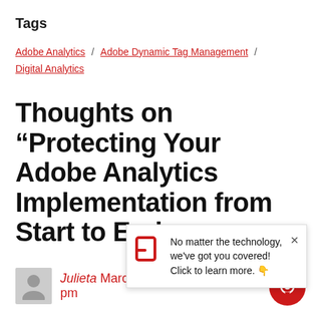Tags
Adobe Analytics / Adobe Dynamic Tag Management / Digital Analytics
Thoughts on “Protecting Your Adobe Analytics Implementation from Start to End
[Figure (screenshot): Popup notification with a red P logo icon and text: 'No matter the technology, we've got you covered! Click to learn more.' with an X close button.]
Julieta   March 5, 2016 at 7:43 pm